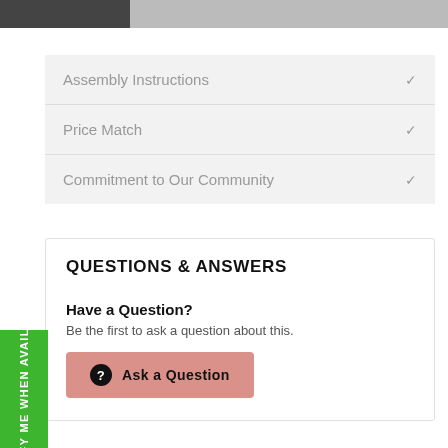[Figure (photo): Partial product image cropped at top of page]
Assembly Instructions
Price Match
Commitment to Our Community
QUESTIONS & ANSWERS
Have a Question?
Be the first to ask a question about this.
Ask a Question
NOTIFY ME WHEN AVAILABLE